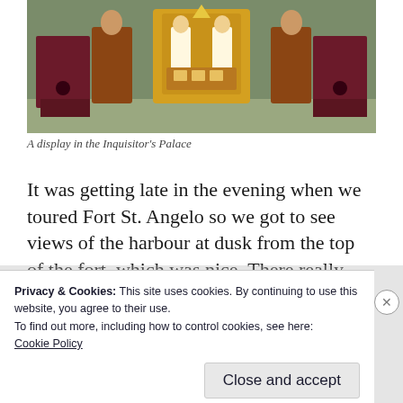[Figure (photo): A display inside the Inquisitor's Palace, showing ornate decorative figurines and ceremonial objects arranged on red and gold stands against a green background.]
A display in the Inquisitor's Palace
It was getting late in the evening when we toured Fort St. Angelo so we got to see views of the harbour at dusk from the top of the fort, which was nice. There really isn't much to see
Privacy & Cookies: This site uses cookies. By continuing to use this website, you agree to their use.
To find out more, including how to control cookies, see here:
Cookie Policy
Close and accept